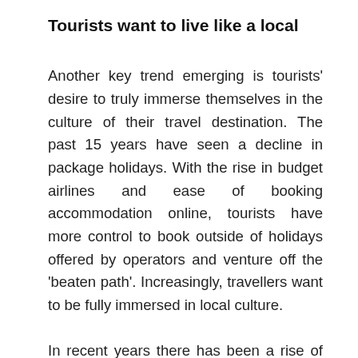Tourists want to live like a local
Another key trend emerging is tourists' desire to truly immerse themselves in the culture of their travel destination. The past 15 years have seen a decline in package holidays. With the rise in budget airlines and ease of booking accommodation online, tourists have more control to book outside of holidays offered by operators and venture off the 'beaten path'. Increasingly, travellers want to be fully immersed in local culture.
In recent years there has been a rise of online accommodation booking platforms rooted in the concept of living within the local community. The growth of work-away retreats where people take up positions on farms and villas are a good example of how people are changing their travel habits. This is great news for